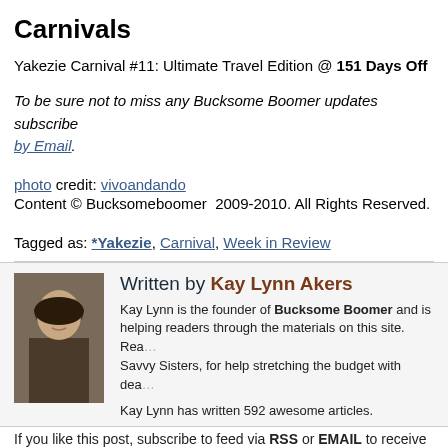Carnivals
Yakezie Carnival #11: Ultimate Travel Edition @ 151 Days Off
To be sure not to miss any Bucksome Boomer updates subscribe by Email.
photo credit: vivoandando
Content © Bucksomeboomer  2009-2010. All Rights Reserved.
Tagged as: *Yakezie, Carnival, Week in Review
Written by Kay Lynn Akers
Kay Lynn is the founder of Bucksome Boomer and is helping readers through the materials on this site. Rea... Savvy Sisters, for help stretching the budget with dea...
Kay Lynn has written 592 awesome articles.
If you like this post, subscribe to feed via RSS or EMAIL to receive instant...